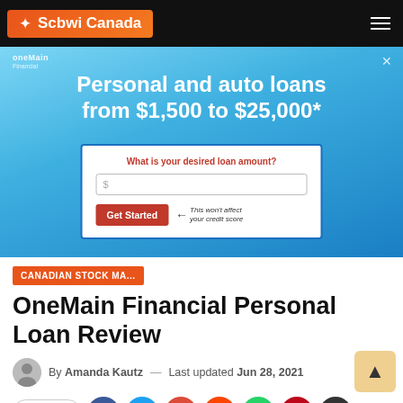Scbwi Canada
[Figure (screenshot): OneMain Financial advertisement banner showing 'Personal and auto loans from $1,500 to $25,000*' with a loan amount input form and Get Started button on a blue gradient background.]
CANADIAN STOCK MA...
OneMain Financial Personal Loan Review
By Amanda Kautz — Last updated Jun 28, 2021
Share (social media icons: Facebook, Twitter, Google, Reddit, WhatsApp, Pinterest, Email)